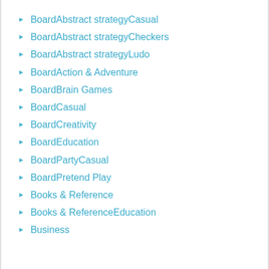BoardAbstract strategyCasual
BoardAbstract strategyCheckers
BoardAbstract strategyLudo
BoardAction & Adventure
BoardBrain Games
BoardCasual
BoardCreativity
BoardEducation
BoardPartyCasual
BoardPretend Play
Books & Reference
Books & ReferenceEducation
Business